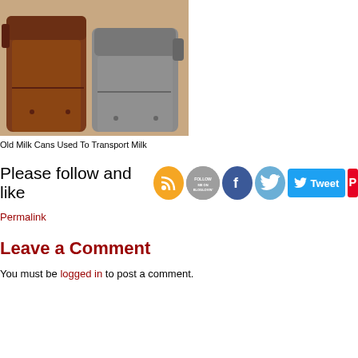[Figure (photo): Two old metal milk cans used to transport milk, brown/rust colored and grey, sitting on a light surface against a wooden background]
Old Milk Cans Used To Transport Milk
Please follow and like [social media buttons]
Permalink
Leave a Comment
You must be logged in to post a comment.